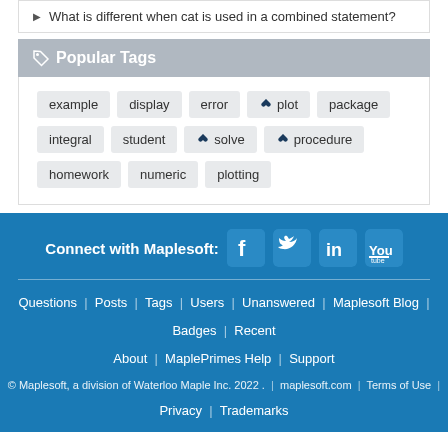What is different when cat is used in a combined statement?
Popular Tags
example  display  error  plot  package  integral  student  solve  procedure  homework  numeric  plotting
Connect with Maplesoft: [Facebook] [Twitter] [LinkedIn] [YouTube]  Questions | Posts | Tags | Users | Unanswered | Maplesoft Blog | Badges | Recent  About | MaplePrimes Help | Support  © Maplesoft, a division of Waterloo Maple Inc. 2022 . | maplesoft.com | Terms of Use | Privacy | Trademarks